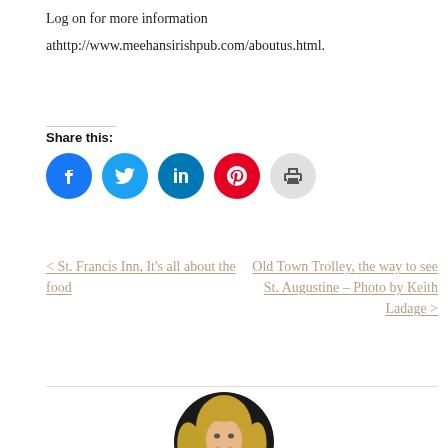Log on for more information athttp://www.meehansirishpub.com/aboutus.html.
Share this:
[Figure (other): Social sharing icons: Facebook (blue circle), Twitter (cyan circle), LinkedIn (dark teal circle), Pinterest (red circle), Print (grey circle)]
< St. Francis Inn, It's all about the food
Old Town Trolley, the way to see St. Augustine – Photo by Keith Ladage >
[Figure (photo): Circular portrait photo of a smiling woman with long blonde hair]